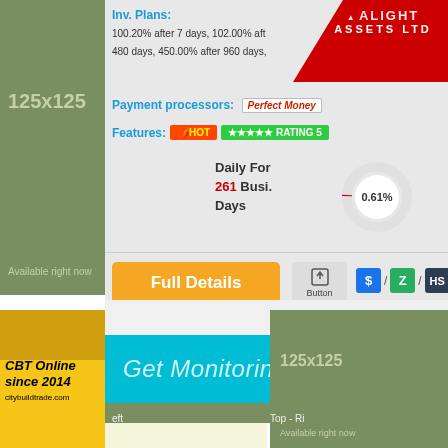[Figure (screenshot): 125x125 ad placeholder, green background, 'Available right now' text]
Inv. Plans: 100.20% after 7 days, 102.00% after 480 days, 450.00% after 960 days,
[Figure (logo): Alight Assets Ltd logo, red background with white text]
Payment processors: Perfect Money
Features: HOT RATING 5
Daily For 261 Busi. Days
[Figure (donut-chart): Donut chart showing 0.61%]
Full Details
Button
[Figure (screenshot): Service icons: S / Z / HS]
[Figure (screenshot): CBT Online since 2014 citybuildtrade.com advertisement]
Get Monitoring Image Code
[Figure (screenshot): 125x125 ad placeholder bottom right, green background, 'Available right now']
eft
Top - Ri